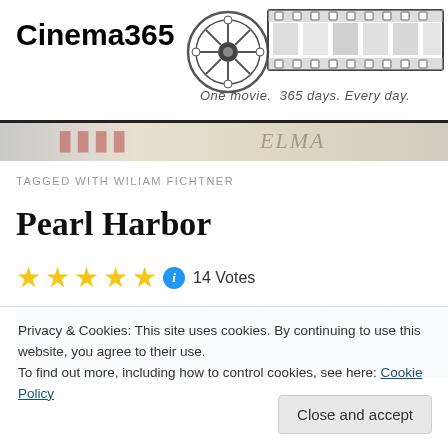Cinema365 — One movie. 365 days. Every day.
TAGGED WITH WILIAM FICHTNER
Pearl Harbor
★★★★★ ℹ 14 Votes
[Figure (photo): Movie still from Pearl Harbor showing a naval scene with blue sky]
Privacy & Cookies: This site uses cookies. By continuing to use this website, you agree to their use.
To find out more, including how to control cookies, see here: Cookie Policy
Close and accept